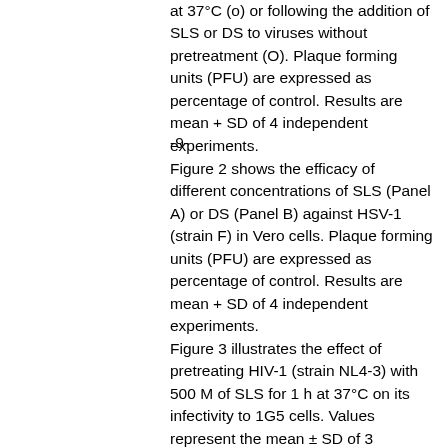at 37°C (o) or following the addition of SLS or DS to viruses without pretreatment (O). Plaque forming units (PFU) are expressed as percentage of control. Results are mean + SD of 4 independent experiments.
-9-
Figure 2 shows the efficacy of different concentrations of SLS (Panel A) or DS (Panel B) against HSV-1 (strain F) in Vero cells. Plaque forming units (PFU) are expressed as percentage of control. Results are mean + SD of 4 independent experiments.
Figure 3 illustrates the effect of pretreating HIV-1 (strain NL4-3) with 500 M of SLS for 1 h at 37°C on its infectivity to 1G5 cells. Values represent the mean ± SD of 3 determinations.
Figure 4 shows electron micrographs of Vero cells infected with HSV-1 (strain F) pretreated for 1 h at 37°C with 50 M (Panel B), 75 M (Panel C) and 100 M (Panel D) of SLS. Cells infected with HSV-1 (strain F) in absence of SLS were used as control (Panel A). Magnification 70,000 X.
Figure 5 shows quantification of glycoprotein D of HSV-1 (strain F) pretreated for 1 h at 37°C with 10 F, 25, 50,